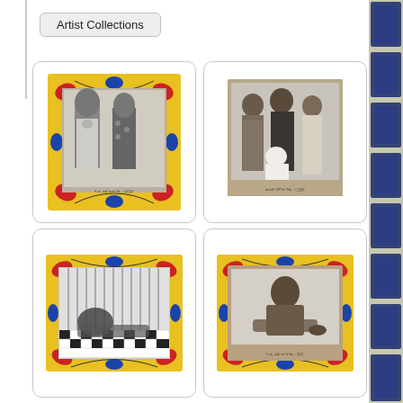Artist Collections
[Figure (photo): Black and white photograph of two women in traditional African dress with colorful yellow, red, and blue decorative painted border/frame]
[Figure (photo): Black and white studio portrait photograph of a group of four people, three standing and one crouching, in everyday clothing, mounted on brown card]
[Figure (photo): Black and white photograph of a person reclining on a checkered floor against striped backdrop, with colorful yellow, red, and blue decorative painted border/frame]
[Figure (photo): Black and white photograph of a child sitting on the ground, with colorful yellow, red, and blue decorative painted border/frame]